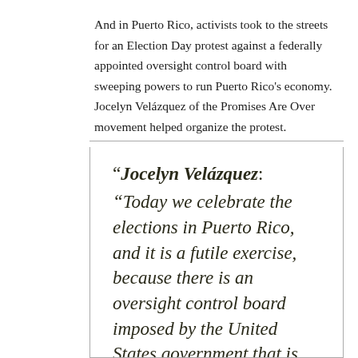And in Puerto Rico, activists took to the streets for an Election Day protest against a federally appointed oversight control board with sweeping powers to run Puerto Rico's economy. Jocelyn Velázquez of the Promises Are Over movement helped organize the protest.
“Jocelyn Velázquez: “Today we celebrate the elections in Puerto Rico, and it is a futile exercise, because there is an oversight control board imposed by the United States government that is going to take the transcendental decisions